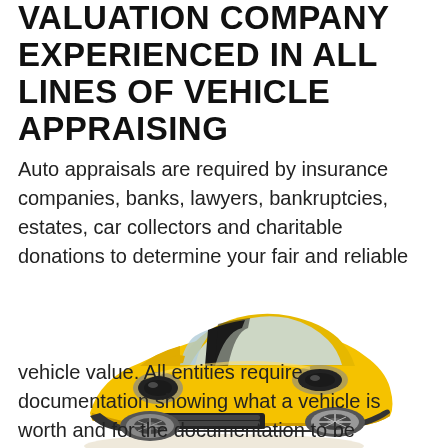VALUATION COMPANY EXPERIENCED IN ALL LINES OF VEHICLE APPRAISING
Auto appraisals are required by insurance companies, banks, lawyers, bankruptcies, estates, car collectors and charitable donations to determine your fair and reliable
[Figure (photo): Yellow sports car (Chevrolet Camaro style) photographed from a front three-quarter angle on a white background]
vehicle value.  All entities require documentation showing what a vehicle is worth and for the documentation to be